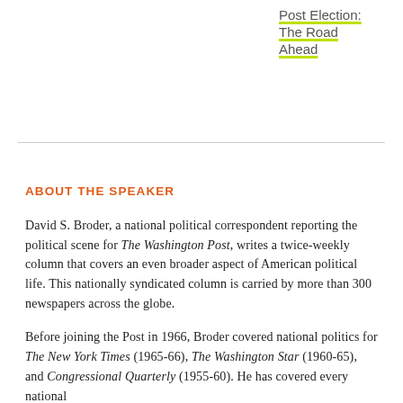Post Election: The Road Ahead
ABOUT THE SPEAKER
David S. Broder, a national political correspondent reporting the political scene for The Washington Post, writes a twice-weekly column that covers an even broader aspect of American political life. This nationally syndicated column is carried by more than 300 newspapers across the globe.
Before joining the Post in 1966, Broder covered national politics for The New York Times (1965-66), The Washington Star (1960-65), and Congressional Quarterly (1955-60). He has covered every national